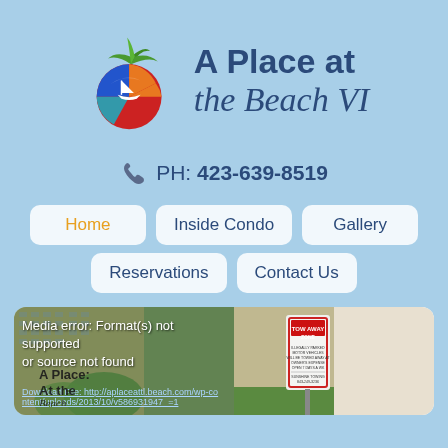[Figure (logo): A Place at the Beach VI logo with colorful beach ball graphic featuring a sailboat, green palm tree on top, and text 'A Place at the Beach VI' in dark blue]
PH: 423-639-8519
Home
Inside Condo
Gallery
Reservations
Contact Us
[Figure (screenshot): Video player showing media error: Format(s) not supported or source not found, with download file link. Background shows building exterior. Overlaid with A Place at the Beach logo text. Right side shows 'TOW AWAY ZONE' sign photo.]